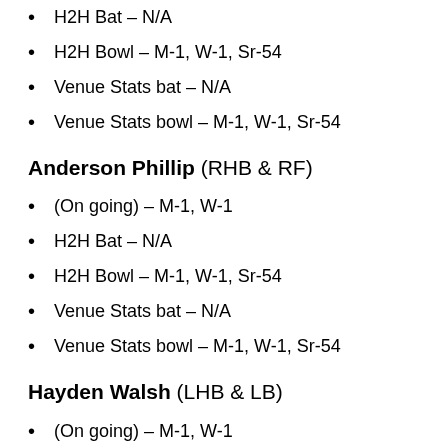H2H Bat – N/A
H2H Bowl – M-1, W-1, Sr-54
Venue Stats bat – N/A
Venue Stats bowl – M-1, W-1, Sr-54
Anderson Phillip (RHB & RF)
(On going) – M-1, W-1
H2H Bat – N/A
H2H Bowl – M-1, W-1, Sr-54
Venue Stats bat – N/A
Venue Stats bowl – M-1, W-1, Sr-54
Hayden Walsh (LHB & LB)
(On going) – M-1, W-1